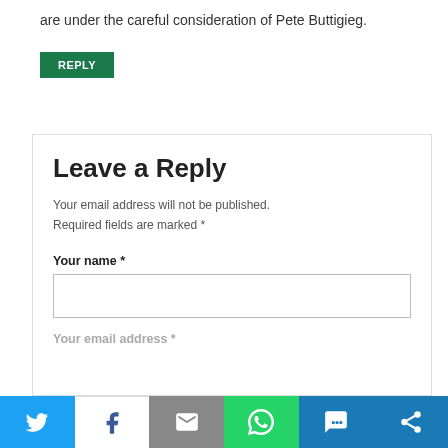are under the careful consideration of Pete Buttigieg.
REPLY
Leave a Reply
Your email address will not be published. Required fields are marked *
Your name *
Your email address *
[Figure (infographic): Social sharing bar with Twitter, Facebook, Email, WhatsApp, SMS, and Share buttons]